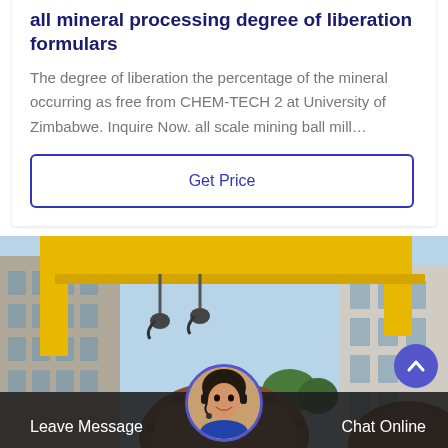all mineral processing degree of liberation formulars
The degree of liberation the percentage of the mineral occurring as free from CHEM-TECH 2 at University of Zimbabwe. Inquire Now. all scale mining ball mill…
Get Price
[Figure (photo): Industrial scene showing a yellow overhead crane/gantry with hooks, large circular mill machinery (ball mill), buildings on either side, set against a light blue sky with trees visible in background.]
Leave Message
Chat Online